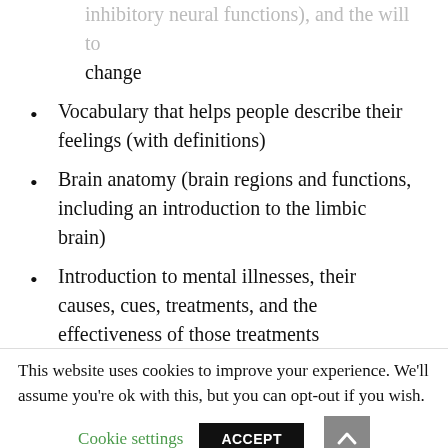inhibitory neural functions), and the will to change
Vocabulary that helps people describe their feelings (with definitions)
Brain anatomy (brain regions and functions, including an introduction to the limbic brain)
Introduction to mental illnesses, their causes, cues, treatments, and the effectiveness of those treatments
The importance of physiological health
Feedback as an approach to changing behavior
Advanced problem solving skills...
This website uses cookies to improve your experience. We'll assume you're ok with this, but you can opt-out if you wish.
Cookie settings   ACCEPT